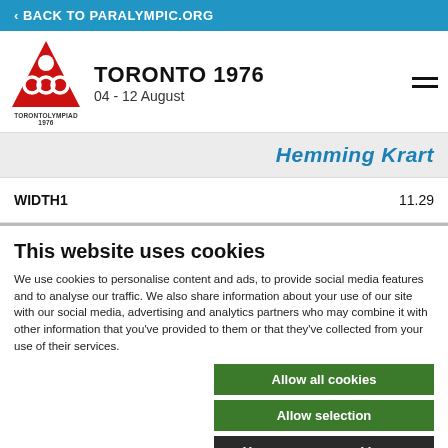< BACK TO PARALYMPIC.ORG
TORONTO 1976
04 - 12 August
|  |  |
| --- | --- |
|  | Hemming Krart |
| WIDTH1 | 11.29 |
This website uses cookies
We use cookies to personalise content and ads, to provide social media features and to analyse our traffic. We also share information about your use of our site with our social media, advertising and analytics partners who may combine it with other information that you've provided to them or that they've collected from your use of their services.
Allow all cookies
Allow selection
Use necessary cookies on
essary  Preferences  Statistics  Show details  Marketing  WIDTH1